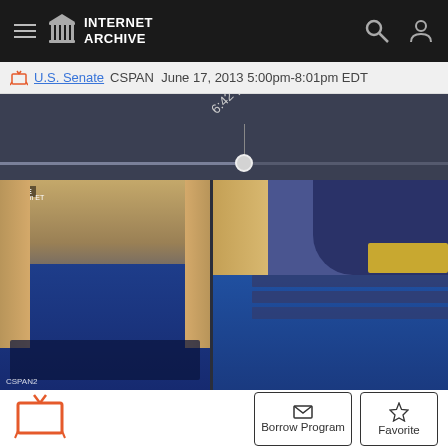INTERNET ARCHIVE
U.S. Senate CSPAN June 17, 2013 5:00pm-8:01pm EDT
[Figure (screenshot): Timeline scrubber showing 6:42 pm marker on a dark slate-colored track]
[Figure (screenshot): Three side-by-side video thumbnails showing the U.S. Senate chamber floor session on CSPAN, CSPAN2 feeds]
[Figure (other): Orange TV icon]
Borrow Program
Favorite
U.S. Senate
CSPAN June 17, 2013 5:00pm-8:01pm EDT